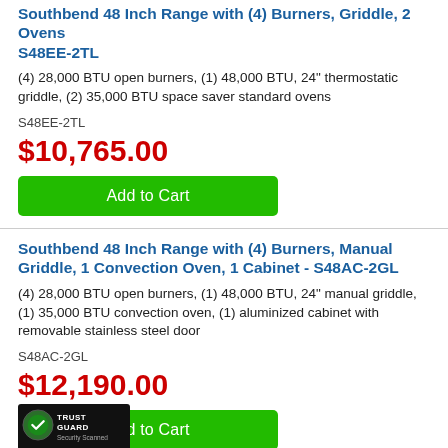Southbend 48 Inch Range with (4) Burners, Griddle, 2 Ovens S48EE-2TL
(4) 28,000 BTU open burners, (1) 48,000 BTU, 24" thermostatic griddle, (2) 35,000 BTU space saver standard ovens
S48EE-2TL
$10,765.00
Add to Cart
Southbend 48 Inch Range with (4) Burners, Manual Griddle, 1 Convection Oven, 1 Cabinet - S48AC-2GL
(4) 28,000 BTU open burners, (1) 48,000 BTU, 24" manual griddle, (1) 35,000 BTU convection oven, (1) aluminized cabinet with removable stainless steel door
S48AC-2GL
$12,190.00
Add to Cart